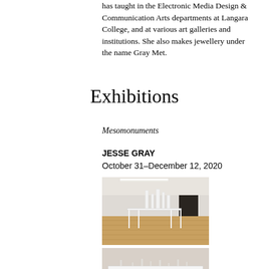has taught in the Electronic Media Design & Communication Arts departments at Langara College, and at various art galleries and institutions. She also makes jewellery under the name Gray Met.
Exhibitions
Mesomonuments
JESSE GRAY
October 31–December 12, 2020
[Figure (photo): Gallery interior showing a white table with tall white sculptural forms on it, wooden floor, white walls, fluorescent ceiling lights, and a dark doorway in the background.]
[Figure (photo): Close-up view of a white table with small sculptural objects arranged on its surface, showing detail of an art installation.]